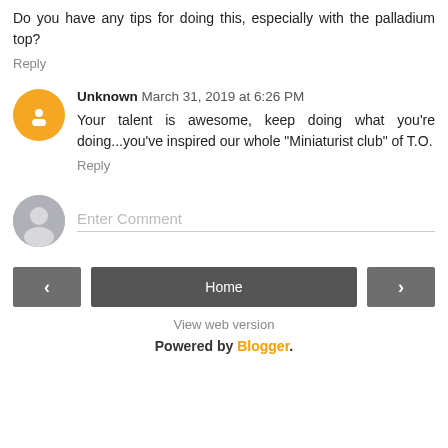Do you have any tips for doing this, especially with the palladium top?
Reply
Unknown March 31, 2019 at 6:26 PM
Your talent is awesome, keep doing what you're doing...you've inspired our whole "Miniaturist club" of T.O.
Reply
[Figure (illustration): Gray avatar placeholder icon for comment input]
Enter Comment
Home
View web version
Powered by Blogger.